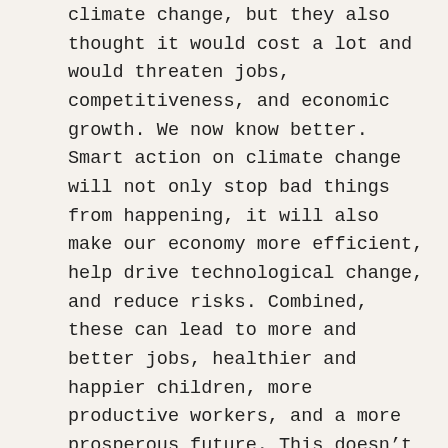climate change, but they also thought it would cost a lot and would threaten jobs, competitiveness, and economic growth. We now know better. Smart action on climate change will not only stop bad things from happening, it will also make our economy more efficient, help drive technological change, and reduce risks. Combined, these can lead to more and better jobs, healthier and happier children, more productive workers, and a more prosperous future. This doesn't mean it will be easy. It won't be. The coming decade will be decisive. The economy in 2030 will need to be vastly different from what it is today, and Amazon plans to